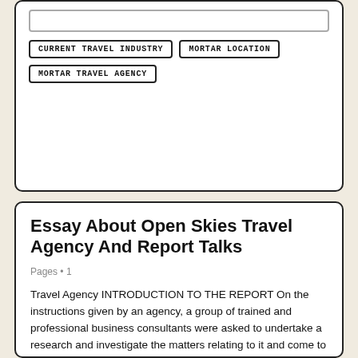CURRENT TRAVEL INDUSTRY
MORTAR LOCATION
MORTAR TRAVEL AGENCY
Essay About Open Skies Travel Agency And Report Talks
Pages • 1
Travel Agency INTRODUCTION TO THE REPORT On the instructions given by an agency, a group of trained and professional business consultants were asked to undertake a research and investigate the matters relating to it and come to a productive conclusion. It is based on the current situation and is done to improve in the near.
Related Essay Topics:
OPEN SKIES TRAVEL AGENCY